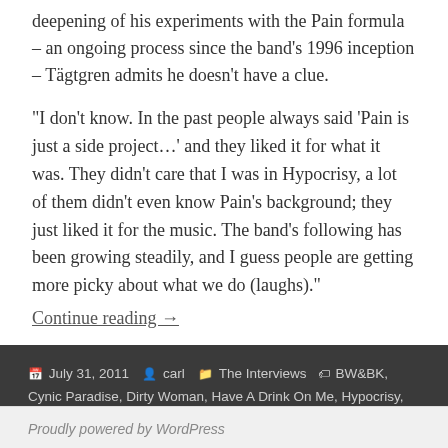deepening of his experiments with the Pain formula – an ongoing process since the band's 1996 inception – Tägtgren admits he doesn't have a clue.
“I don’t know. In the past people always said ‘Pain is just a side project…’ and they liked it for what it was. They didn’t care that I was in Hypocrisy, a lot of them didn’t even know Pain’s background; they just liked it for the music. The band’s following has been growing steadily, and I guess people are getting more picky about what we do (laughs).”
Continue reading →
Posted July 31, 2011  Author carl  Categories The Interviews  Tags BW&BK, Cynic Paradise, Dirty Woman, Have A Drink On Me, Hypocrisy, Pain, Peter Tägtgren
Proudly powered by WordPress